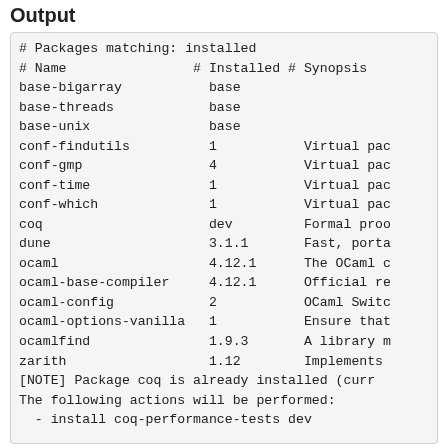Output
# Packages matching: installed
# Name                # Installed # Synopsis
base-bigarray           base
base-threads            base
base-unix               base
conf-findutils          1           Virtual pac
conf-gmp                4           Virtual pac
conf-time               1           Virtual pac
conf-which              1           Virtual pac
coq                     dev         Formal proo
dune                    3.1.1       Fast, porta
ocaml                   4.12.1      The OCaml c
ocaml-base-compiler     4.12.1      Official re
ocaml-config            2           OCaml Switc
ocaml-options-vanilla   1           Ensure that
ocamlfind               1.9.3       A library m
zarith                  1.12        Implements
[NOTE] Package coq is already installed (curr
The following actions will be performed:
  - install coq-performance-tests dev